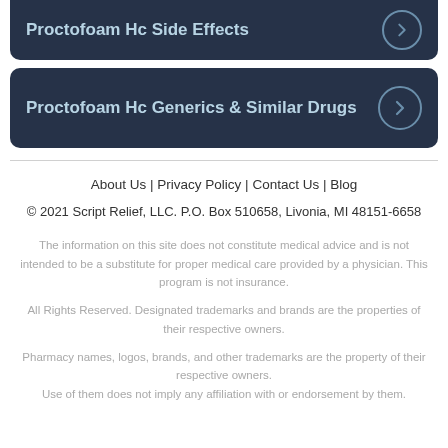Proctofoam Hc Side Effects →
Proctofoam Hc Generics & Similar Drugs →
About Us | Privacy Policy | Contact Us | Blog
© 2021 Script Relief, LLC. P.O. Box 510658, Livonia, MI 48151-6658
The information on this site does not constitute medical advice and is not intended to be a substitute for proper medical care provided by a physician. This program is not insurance.
All Rights Reserved. Designated trademarks and brands are the properties of their respective owners.
Pharmacy names, logos, brands, and other trademarks are the property of their respective owners. Use of them does not imply any affiliation with or endorsement by them.